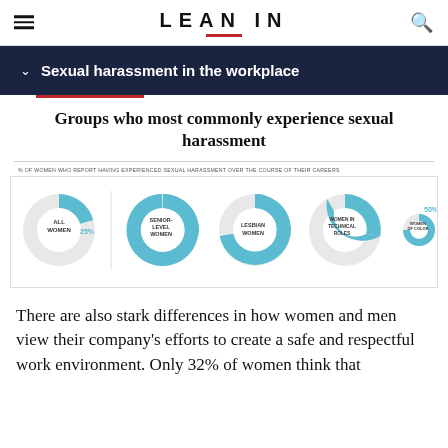LEAN IN
Sexual harassment in the workplace
Groups who most commonly experience sexual harassment
% OF WOMEN WHO REPORT HAVING EXPERIENCED SEXUAL HARASSMENT OVER THE COURSE OF THEIR CAREERS
[Figure (donut-chart): Groups who most commonly experience sexual harassment]
There are also stark differences in how women and men view their company's efforts to create a safe and respectful work environment. Only 32% of women think that